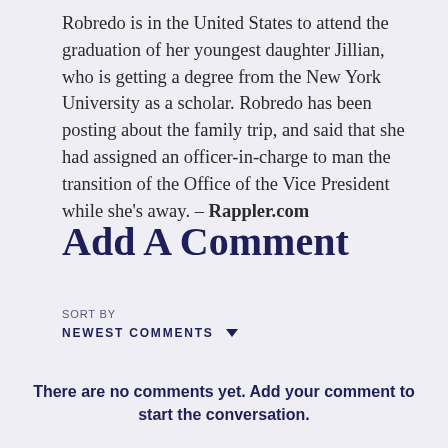Robredo is in the United States to attend the graduation of her youngest daughter Jillian, who is getting a degree from the New York University as a scholar. Robredo has been posting about the family trip, and said that she had assigned an officer-in-charge to man the transition of the Office of the Vice President while she's away. – Rappler.com
Add A Comment
SORT BY
NEWEST COMMENTS
There are no comments yet. Add your comment to start the conversation.